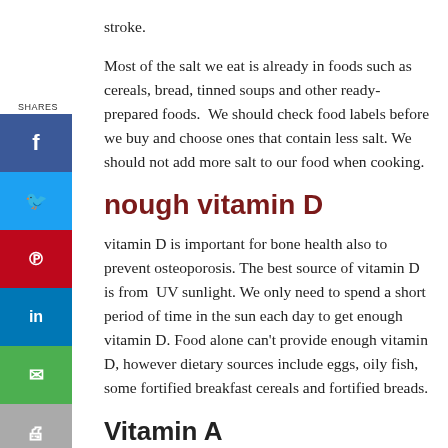stroke.
Most of the salt we eat is already in foods such as cereals, bread, tinned soups and other ready-prepared foods. We should check food labels before we buy and choose ones that contain less salt. We should not add more salt to our food when cooking.
enough vitamin D
Vitamin D is important for bone health also to prevent osteoporosis. The best source of vitamin D is from UV sunlight. We only need to spend a short period of time in the sun each day to get enough vitamin D. Food alone can't provide enough vitamin D, however dietary sources include eggs, oily fish, some fortified breakfast cereals and fortified breads.
Vitamin A